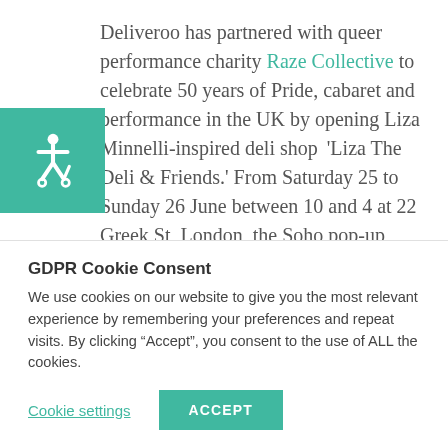Deliveroo has partnered with queer performance charity Raze Collective to celebrate 50 years of Pride, cabaret and performance in the UK by opening Liza Minnelli-inspired deli shop ‘Liza The Deli & Friends.’ From Saturday 25 to Sunday 26 June between 10 and 4 at 22 Greek St, London, the Soho pop-up will provide visitors with an immersive ‘Liza’ performance by Drag Race UK vs The World winner Blu Hydrangea live
[Figure (illustration): Teal/green square with white wheelchair accessibility icon]
GDPR Cookie Consent
We use cookies on our website to give you the most relevant experience by remembering your preferences and repeat visits. By clicking “Accept”, you consent to the use of ALL the cookies.
Cookie settings | ACCEPT